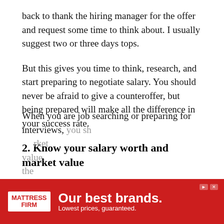back to thank the hiring manager for the offer and request some time to think about. I usually suggest two or three days tops.
But this gives you time to think, research, and start preparing to negotiate salary. You should never be afraid to give a counteroffer, but being prepared will make all the difference in your success rate.
2. Know your salary worth and market value
When you are job searching or preparing for interviews, you should research the average market value. Here are some of the strategies and how the
[Figure (other): Advertisement banner for Mattress Firm: red background, white logo on left reading MATTRESS FIRM, bold white text 'Our best brands.' with subtext 'Lowest prices, guaranteed.' Skip ad and close icons at top right.]